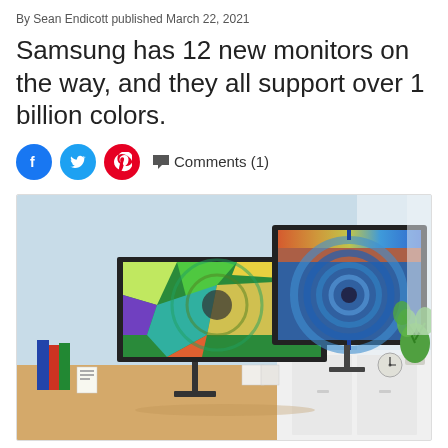By Sean Endicott published March 22, 2021
Samsung has 12 new monitors on the way, and they all support over 1 billion colors.
Comments (1)
[Figure (photo): Two Samsung monitors on desks displaying colorful abstract tunnel imagery. Left monitor is a flat screen on a wooden desk; right monitor is a curved ultrawide on a white cabinet. Light blue background with a plant and small clock visible.]